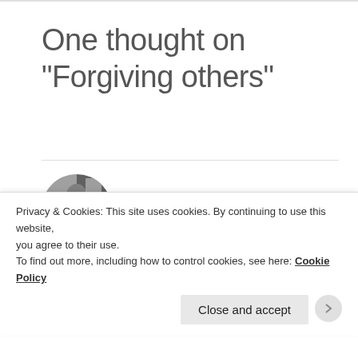One thought on “Forgiving others”
srijan
May 7, 2018 at 5:56 pm  Reply
and sorry, i’m commenting so many times, but try not to comment, otherwise people will get to know, that i’m
Privacy & Cookies: This site uses cookies. By continuing to use this website, you agree to their use.
To find out more, including how to control cookies, see here: Cookie Policy
Close and accept